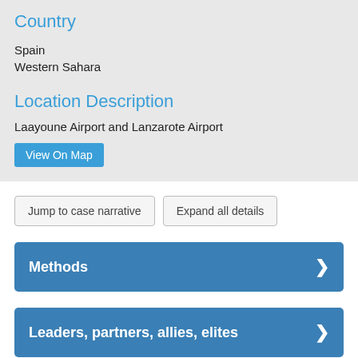Country
Spain
Western Sahara
Location Description
Laayoune Airport and Lanzarote Airport
View On Map
Jump to case narrative
Expand all details
Methods
Leaders, partners, allies, elites
Opponent, Opponent Responses, and Violence